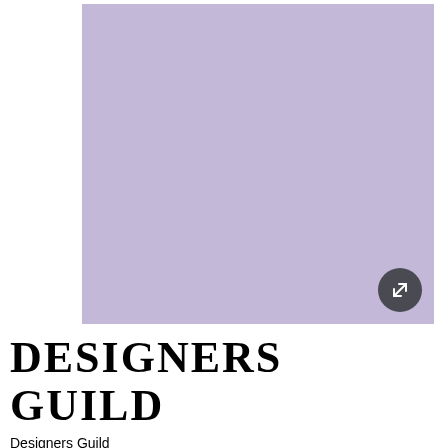[Figure (illustration): A large square color swatch showing a soft mauve/lavender purple color (approximately #c4b8d8). A dark circular expand/fullscreen button with a white diagonal resize arrow icon is overlaid in the bottom-right corner of the swatch.]
DESIGNERS GUILD
Designers Guild
New Mauve No. 144